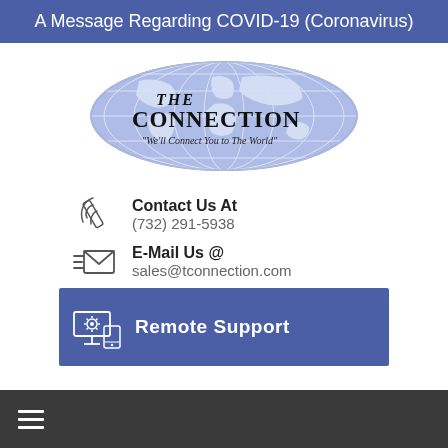A Message Regarding COVID-19 (Coronavirus)
[Figure (logo): The Connection logo — oval shape with world map background, text 'THE CONNECTION' and tagline 'We'll Connect You to The World']
Contact Us At
(732) 291-5938
E-Mail Us @
sales@tconnection.com
Remote Support
☰